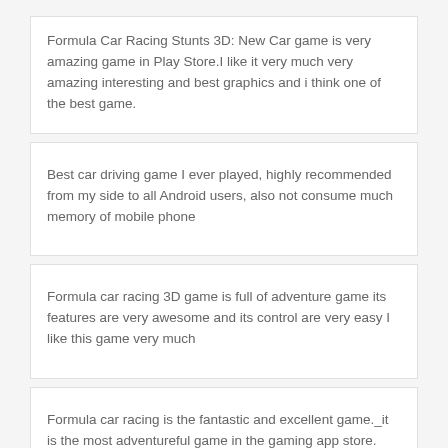Formula Car Racing Stunts 3D: New Car game is very amazing game in Play Store.I like it very much very amazing interesting and best graphics and i think one of the best game.
Best car driving game I ever played, highly recommended from my side to all Android users, also not consume much memory of mobile phone
Formula car racing 3D game is full of adventure game its features are very awesome and its control are very easy I like this game very much
Formula car racing is the fantastic and excellent game._it is the most adventureful game in the gaming app store.